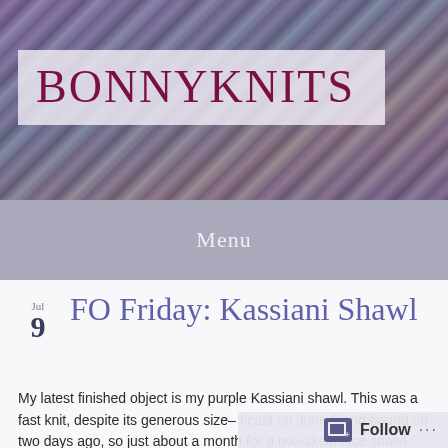BONNYKNITS
Menu
FO Friday: Kassiani Shawl
My latest finished object is my purple Kassiani shawl. This was a fast knit, despite its generous size– I cast on June 5 and bound off two days ago, so just about a month for a two-skein lace shawl. But this pattern was so fun, and even though it looks complicated